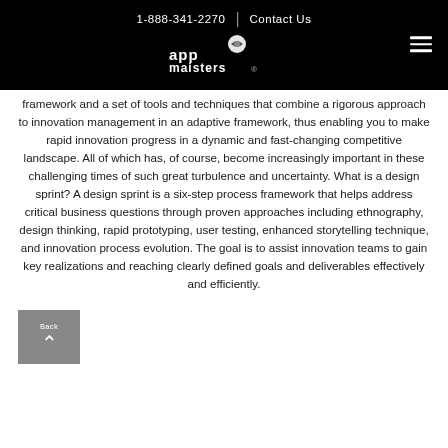1-888-341-2270 | Contact Us — App Maisters logo
framework and a set of tools and techniques that combine a rigorous approach to innovation management in an adaptive framework, thus enabling you to make rapid innovation progress in a dynamic and fast-changing competitive landscape. All of which has, of course, become increasingly important in these challenging times of such great turbulence and uncertainty. What is a design sprint? A design sprint is a six-step process framework that helps address critical business questions through proven approaches including ethnography, design thinking, rapid prototyping, user testing, enhanced storytelling technique, and innovation process evolution. The goal is to assist innovation teams to gain key realizations and reaching clearly defined goals and deliverables effectively and efficiently.